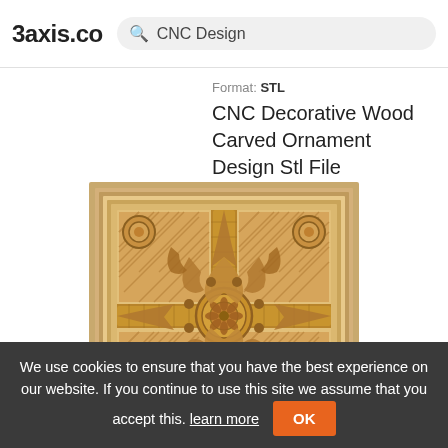3axis.co  CNC Design
Format: STL
CNC Decorative Wood Carved Ornament Design Stl File
[Figure (illustration): CNC decorative wood carved ornament design — a square panel with intricate carved acanthus scrollwork, fleur-de-lis motifs, a central rosette medallion, lattice/crosshatch background in four quadrants, and circular corner ornaments, rendered in warm tan/brown tones.]
We use cookies to ensure that you have the best experience on our website. If you continue to use this site we assume that you accept this. learn more  OK